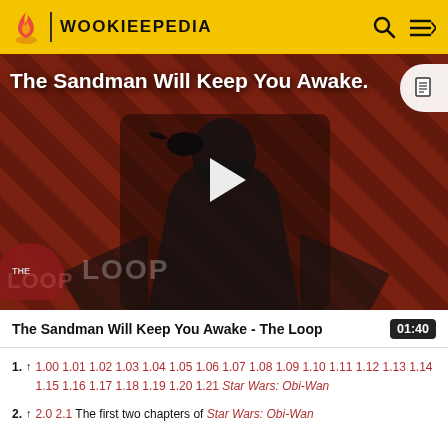WOOKIEEPEDIA
[Figure (screenshot): Video thumbnail for 'The Sandman Will Keep You Awake - The Loop' showing a dark-cloaked figure with a raven against a red diagonal-striped background, with The Loop logo overlay and a play button in the center.]
The Sandman Will Keep You Awake - The Loop  01:40
1. ↑ 1.00 1.01 1.02 1.03 1.04 1.05 1.06 1.07 1.08 1.09 1.10 1.11 1.12 1.13 1.14 1.15 1.16 1.17 1.18 1.19 1.20 1.21 Star Wars: Obi-Wan
2. ↑ 2.0 2.1 The first two chapters of Star Wars: Obi-Wan